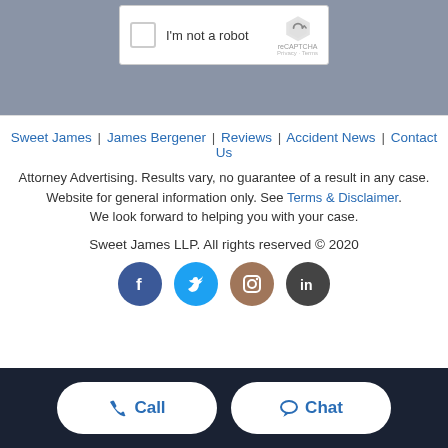[Figure (screenshot): reCAPTCHA widget showing checkbox 'I'm not a robot' with reCAPTCHA logo, Privacy and Terms links, on grey background]
Sweet James | James Bergener | Reviews | Accident News | Contact Us
Attorney Advertising. Results vary, no guarantee of a result in any case. Website for general information only. See Terms & Disclaimer. We look forward to helping you with your case.
Sweet James LLP. All rights reserved © 2020
[Figure (infographic): Social media icons: Facebook (blue circle), Twitter (light blue circle), Instagram (brown circle), LinkedIn (dark grey circle)]
[Figure (infographic): Dark navy bottom bar with two white rounded buttons: Call (phone icon) and Chat (speech bubble icon)]